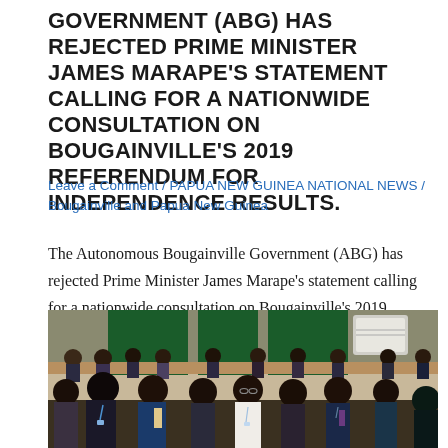GOVERNMENT (ABG) HAS REJECTED PRIME MINISTER JAMES MARAPE'S STATEMENT CALLING FOR A NATIONWIDE CONSULTATION ON BOUGAINVILLE'S 2019 REFERENDUM FOR INDEPENDENCE RESULTS.
Leave a Comment / PAPUA NEW GUINEA NATIONAL NEWS / Bougainville and Papua New Guinea
The Autonomous Bougainville Government (ABG) has rejected Prime Minister James Marape's statement calling for a nationwide consultation on Bougainville's 2019 Referendum for Independence results. The…
[Figure (photo): A large group of people, mostly men in formal attire (suits), seated in rows in what appears to be an official meeting or conference hall with green curtains and an air conditioning unit visible in the background.]